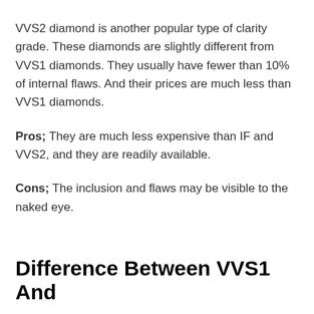VVS2 diamond is another popular type of clarity grade. These diamonds are slightly different from VVS1 diamonds. They usually have fewer than 10% of internal flaws. And their prices are much less than VVS1 diamonds.
Pros; They are much less expensive than IF and VVS2, and they are readily available.
Cons; The inclusion and flaws may be visible to the naked eye.
Difference Between VVS1 And